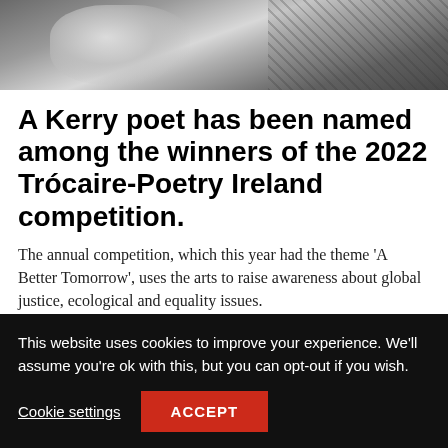[Figure (photo): Black and white photo of a person, partially visible at top of page]
A Kerry poet has been named among the winners of the 2022 Trócaire-Poetry Ireland competition.
The annual competition, which this year had the theme 'A Better Tomorrow', uses the arts to raise awareness about global justice, ecological and equality issues.
Lorraine Carey from Fenit was named as the runner-up in
This website uses cookies to improve your experience. We'll assume you're ok with this, but you can opt-out if you wish.
Cookie settings
ACCEPT